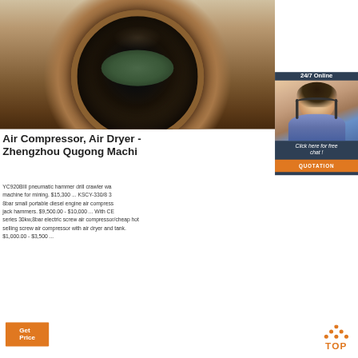[Figure (photo): Close-up photo of a circular drill hole or pipe opening, showing a dark interior with rust-colored metal edges]
[Figure (photo): 24/7 Online customer service panel with photo of smiling female agent wearing headset, Click here for free chat button, and QUOTATION button]
Air Compressor, Air Dryer - Zhengzhou Qugong Machi
YC920BIII pneumatic hammer drill crawler wa machine for mining. $15,300 ... KSCY-330/8 3 8bar small portable diesel engine air compress jack hammers. $9,500.00 - $10,000 ... With CE series 30kw,8bar electric screw air compressor/cheap hot selling screw air compressor with air dryer and tank. $1,000.00 - $3,500 ...
[Figure (logo): Orange TOP button with triangle/arrow icon made of orange dots above the text TOP]
Get Price